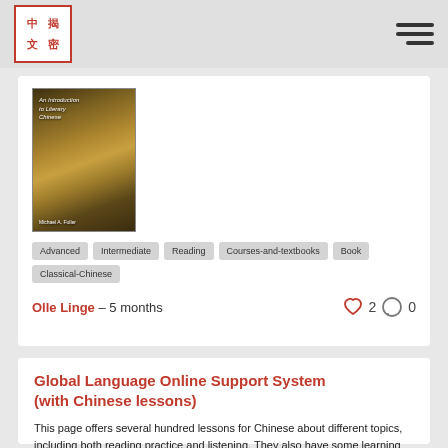中揭文密 [logo] [hamburger menu]
[Figure (photo): Book cover: An Introduction to Literary Chinese, by Michael A. Fuller. Dark golden/brown tones with Chinese manuscript imagery.]
Advanced
Intermediate
Reading
Courses-and-textbooks
Book
Classical-Chinese
Olle Linge – 5 months  ♡ 2  💬 0
Global Language Online Support System (with Chinese lessons)
This page offers several hundred lessons for Chinese about different topics, including both reading practice and listening. They also have some learning activities, including quizzes. I have tried … Read more.